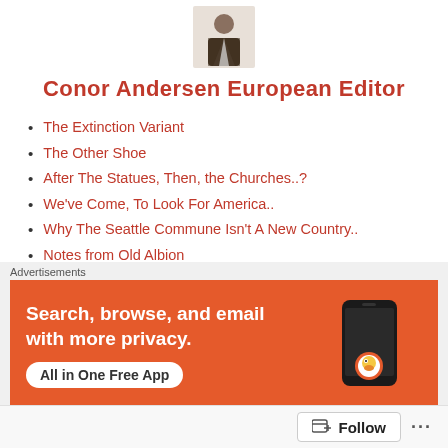[Figure (photo): Profile photo of Conor Andersen, a person in a dark jacket]
Conor Andersen European Editor
The Extinction Variant
The Other Shoe
After The Statues, Then, the Churches..?
We've Come, To Look For America..
Why The Seattle Commune Isn't A New Country..
Notes from Old Albion
DOMINIC CUMMINGS: THE MAN WHO WENT OUTSIDE
UPCOMING VACANCY IN NORTH KOREA : MAD DICTATOR REQUIRED
INTELLIGENCE WITHOUT MORALITY, BECOMES GENOCIDAL
THE COLD WORLD WAR
Advertisements
Search, browse, and email with more privacy. All in One Free App
Follow